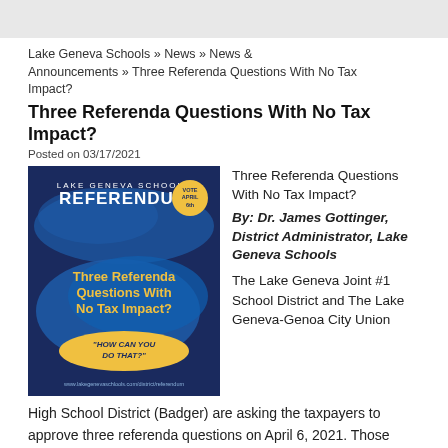Lake Geneva Schools » News » News & Announcements » Three Referenda Questions With No Tax Impact?
Three Referenda Questions With No Tax Impact?
Posted on 03/17/2021
[Figure (illustration): Lake Geneva Schools Referendum poster with dark blue background. Text reads: LAKE GENEVA SCHOOLS REFERENDUM (with 'VOTE APRIL 6th' badge), THREE REFERENDA QUESTIONS WITH NO TAX IMPACT?, 'HOW CAN YOU DO THAT?', www.lakegenevaschlools.com/district/referendum]
Three Referenda Questions With No Tax Impact?
By: Dr. James Gottinger, District Administrator, Lake Geneva Schools

The Lake Geneva Joint #1 School District and The Lake Geneva-Genoa City Union High School District (Badger) are asking the taxpayers to approve three referenda questions on April 6, 2021. Those questions are: